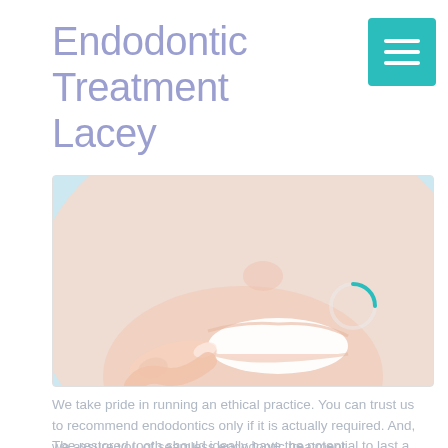Endodontic Treatment Lacey
[Figure (photo): Close-up photo of a smiling person pointing at their teeth, with a loading spinner overlay, light blue background]
We take pride in running an ethical practice. You can trust us to recommend endodontics only if it is actually required. And, we assure you of seamless endodontic treatment.
The restored tooth should ideally have the potential to last a